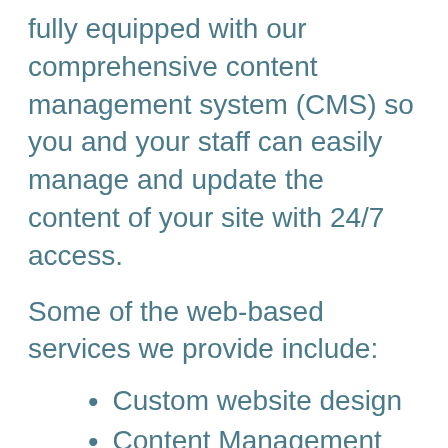fully equipped with our comprehensive content management system (CMS) so you and your staff can easily manage and update the content of your site with 24/7 access.
Some of the web-based services we provide include:
Custom website design
Content Management System (CMS)
Hosting support and